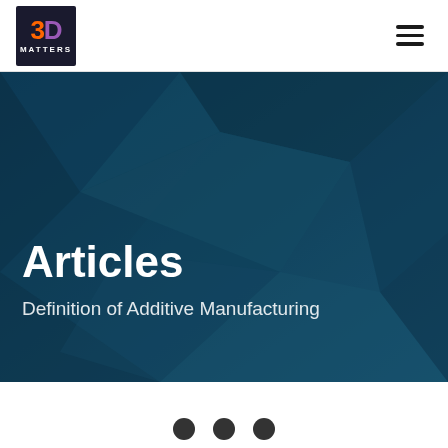[Figure (logo): 3D Matters logo: dark square box with orange '3', purple 'D', and white 'MATTERS' text below]
[Figure (other): Hamburger/navigation menu icon with three horizontal lines]
[Figure (illustration): Dark teal/navy blue geometric polygon faceted background hero image]
Articles
Definition of Additive Manufacturing